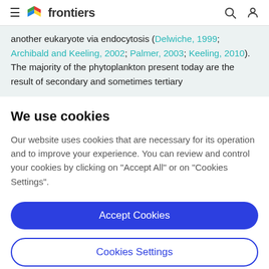frontiers
another eukaryote via endocytosis (Delwiche, 1999; Archibald and Keeling, 2002; Palmer, 2003; Keeling, 2010). The majority of the phytoplankton present today are the result of secondary and sometimes tertiary
We use cookies
Our website uses cookies that are necessary for its operation and to improve your experience. You can review and control your cookies by clicking on "Accept All" or on "Cookies Settings".
Accept Cookies
Cookies Settings